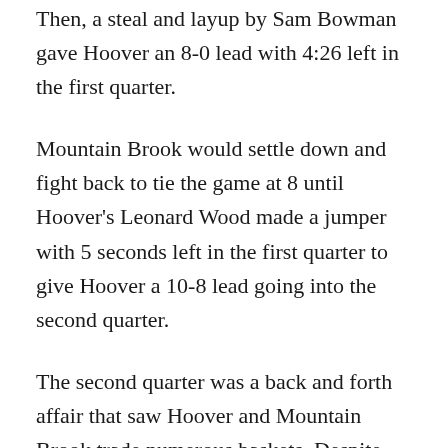Then, a steal and layup by Sam Bowman gave Hoover an 8-0 lead with 4:26 left in the first quarter.
Mountain Brook would settle down and fight back to tie the game at 8 until Hoover's Leonard Wood made a jumper with 5 seconds left in the first quarter to give Hoover a 10-8 lead going into the second quarter.
The second quarter was a back and forth affair that saw Hoover and Mountain Brook trade numerous baskets. Despite shooting just 273 percent from the field in the first half, Mountain Brook only trailed Hoover 21